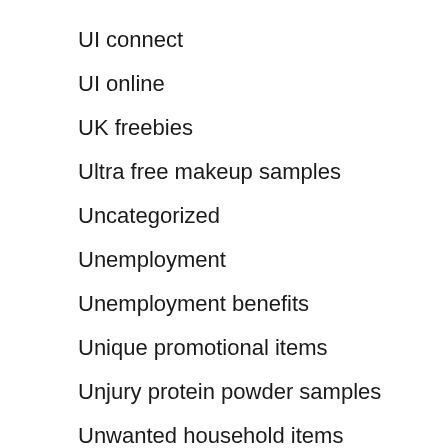UI connect
UI online
UK freebies
Ultra free makeup samples
Uncategorized
Unemployment
Unemployment benefits
Unique promotional items
Unjury protein powder samples
Unwanted household items
Vital proyeins
Vitamins samples
Walmart senior discount